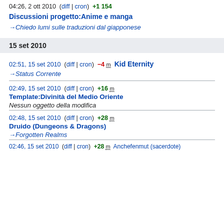04:26, 2 ott 2010 (diff | cron) +1 154
Discussioni progetto:Anime e manga
→Chiedo lumi sulle traduzioni dal giapponese
15 set 2010
02:51, 15 set 2010 (diff | cron) −4 m Kid Eternity
→Status Corrente
02:49, 15 set 2010 (diff | cron) +16 m
Template:Divinità del Medio Oriente
Nessun oggetto della modifica
02:48, 15 set 2010 (diff | cron) +28 m
Druido (Dungeons & Dragons)
→Forgotten Realms
02:46, 15 set 2010 (diff | cron) +28 m Anchefenmut (sacerdote)